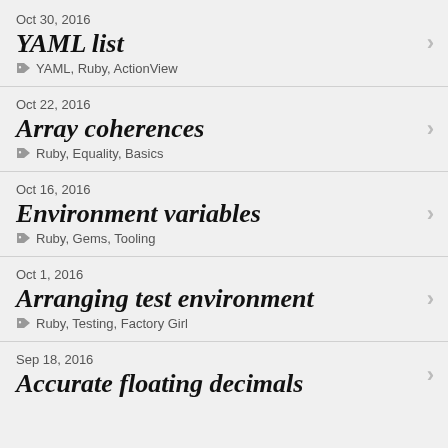Oct 30, 2016
YAML list
YAML, Ruby, ActionView
Oct 22, 2016
Array coherences
Ruby, Equality, Basics
Oct 16, 2016
Environment variables
Ruby, Gems, Tooling
Oct 1, 2016
Arranging test environment
Ruby, Testing, Factory Girl
Sep 18, 2016
Accurate floating decimals